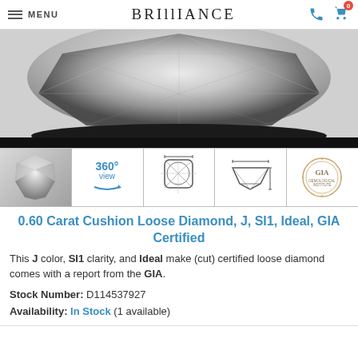MENU | BRILLIANCE
[Figure (photo): Close-up photograph of a cushion cut diamond showing facets and reflections, sitting on a dark surface]
[Figure (photo): Row of 5 thumbnail images: diamond photo, 360° view icon, cushion diamond outline diagram, diamond side profile diagram, GIA certification seal]
0.60 Carat Cushion Loose Diamond, J, SI1, Ideal, GIA Certified
This J color, SI1 clarity, and Ideal make (cut) certified loose diamond comes with a report from the GIA.
Stock Number: D114537927
Availability: In Stock (1 available)